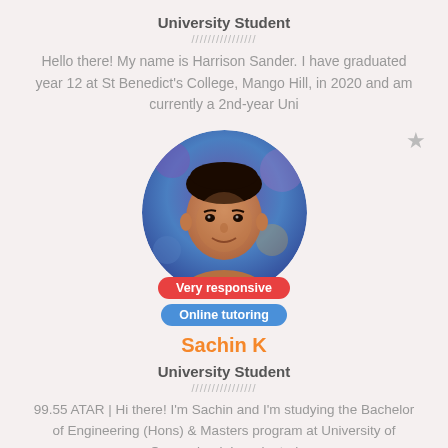University Student
Hello there! My name is Harrison Sander. I have graduated year 12 at St Benedict's College, Mango Hill, in 2020 and am currently a 2nd-year Uni
[Figure (photo): Circular profile photo of a young man with a blurred purple/blue bokeh background, wearing a dark jacket]
Very responsive
Online tutoring
Sachin K
University Student
99.55 ATAR | Hi there! I'm Sachin and I'm studying the Bachelor of Engineering (Hons) & Masters program at University of Queensland. I graduated